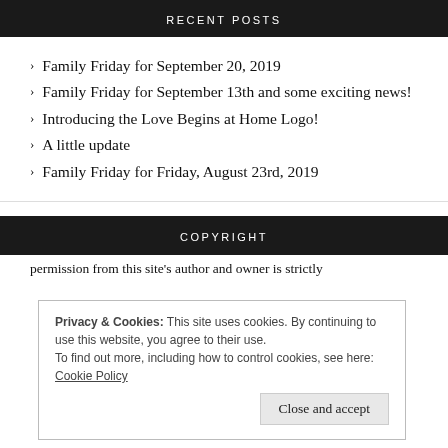RECENT POSTS
Family Friday for September 20, 2019
Family Friday for September 13th and some exciting news!
Introducing the Love Begins at Home Logo!
A little update
Family Friday for Friday, August 23rd, 2019
COPYRIGHT
Privacy & Cookies: This site uses cookies. By continuing to use this website, you agree to their use.
To find out more, including how to control cookies, see here: Cookie Policy
Close and accept
permission from this site's author and owner is strictly